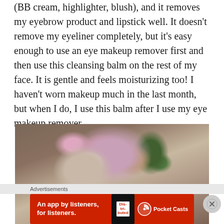(BB cream, highlighter, blush), and it removes my eyebrow product and lipstick well. It doesn't remove my eyeliner completely, but it's easy enough to use an eye makeup remover first and then use this cleansing balm on the rest of my face. It is gentle and feels moisturizing too! I haven't worn makeup much in the last month, but when I do, I use this balm after I use my eye makeup remover.
[Figure (photo): Photo of a cleansing balm product in a dark round jar, placed on a floral-patterned surface with pink roses and green leaves]
Advertisements
[Figure (other): Advertisement banner for Pocket Casts app: red background with text 'An app by listeners, for listeners.' and Pocket Casts logo with a book cover graphic for 'Distributed']